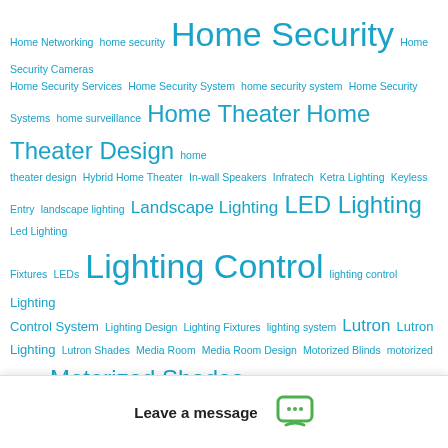[Figure (infographic): Tag cloud of home automation and smart home related keywords in varying sizes, all in cyan/teal color on white background. Larger tags include: Home Security, Lighting Control, LED Lighting, Motorized Shades, Outdoor Entertainment, Remote Access. Smaller tags include numerous related terms.]
Leave a message (popup overlay at bottom of page with chat icon)